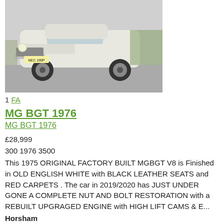[Figure (photo): Front view of a white MG BGT 1976 classic car parked on a driveway, registration plate NEC 190P visible]
1 FA
MG BGT 1976
MG BGT 1976
£28,999
300 1976 3500
This 1975 ORIGINAL FACTORY BUILT MGBGT V8 is Finished in OLD ENGLISH WHITE with BLACK LEATHER SEATS and RED CARPETS . The car in 2019/2020 has JUST UNDER GONE A COMPLETE NUT AND BOLT RESTORATION with a REBUILT UPGRAGED ENGINE with HIGH LIFT CAMS & E...
Horsham
34 days ago